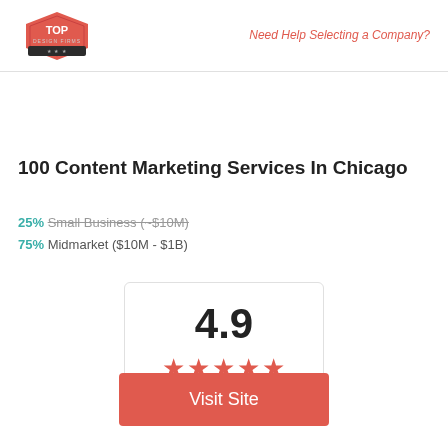[Figure (logo): Top Design Firms logo — red hexagonal/diamond badge with a crown and banner]
Need Help Selecting a Company?
100 Content Marketing Services In Chicago
25% Small Business (~$10M)
75% Midmarket ($10M - $1B)
[Figure (infographic): Rating box showing 4.9 out of 5 stars with 6 Clutch Reviews]
Visit Site